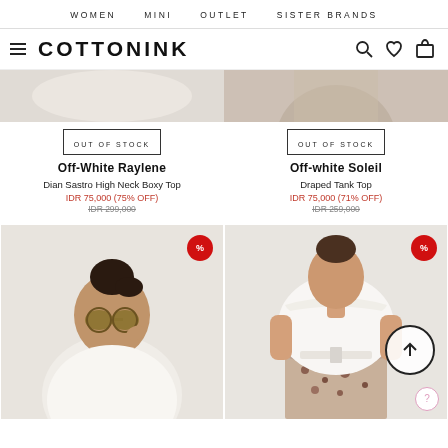WOMEN   MINI   OUTLET   SISTER BRANDS
COTTONINK
[Figure (photo): Top portion of product image (cropped) for Off-White Raylene Dian Sastro High Neck Boxy Top]
[Figure (photo): Top portion of product image (cropped) for Off-white Soleil Draped Tank Top showing model torso]
OUT OF STOCK
Out-White Raylene
Dian Sastro High Neck Boxy Top
IDR 75,000 (75% OFF)
IDR 299,000
OUT OF STOCK
Off-white Soleil
Draped Tank Top
IDR 75,000 (71% OFF)
IDR 259,000
[Figure (photo): Model wearing white blouse with sunglasses, sale % badge]
[Figure (photo): Model wearing white off-shoulder ruffled top with floral skirt, sale % badge and up-arrow circle icon]